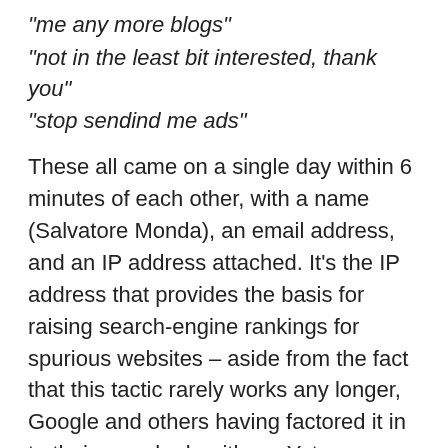“me any more blogs”
“not in the least bit interested, thank you”
“stop sendind me ads”
These all came on a single day within 6 minutes of each other, with a name (Salvatore Monda), an email address, and an IP address attached. It’s the IP address that provides the basis for raising search-engine rankings for spurious websites – aside from the fact that this tactic rarely works any longer, Google and others having factored it in to their search algorithms. Yet somehow, devious and stupid people keep trying.
I checked out the IP address – it appears to be defunct already, meaning someone has shut it down before anyone could be driven to it for whatever purposes – advertising, malware, who knows what. Akismet does a